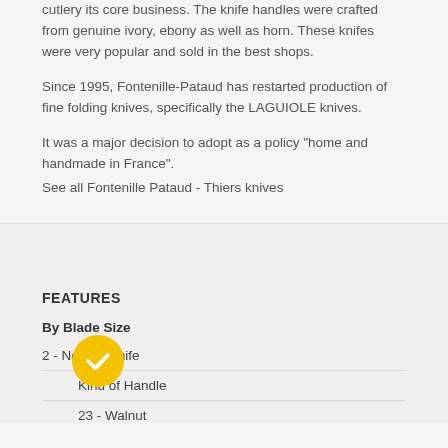cutlery its core business. The knife handles were crafted from genuine ivory, ebony as well as horn. These knifes were very popular and sold in the best shops.
Since 1995, Fontenille-Pataud has restarted production of fine folding knives, specifically the LAGUIOLE knives.
It was a major decision to adopt as a policy "home and handmade in France".
See all Fontenille Pataud - Thiers knives
FEATURES
By Blade Size
2 - Normal Knife
Kind of Handle
23 - Walnut